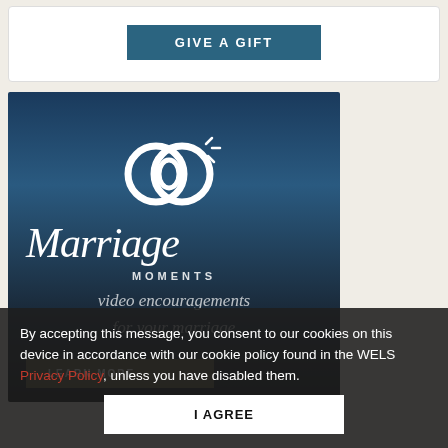[Figure (other): GIVE A GIFT button inside a white card area]
[Figure (illustration): Marriage Moments promotional image with interlocked rings logo, cursive Marriage text, MOMENTS subtitle, and video encouragements text on a dark blue gradient background. Includes a LEARN MORE button at the bottom.]
By accepting this message, you consent to our cookies on this device in accordance with our cookie policy found in the WELS Privacy Policy, unless you have disabled them.
I AGREE